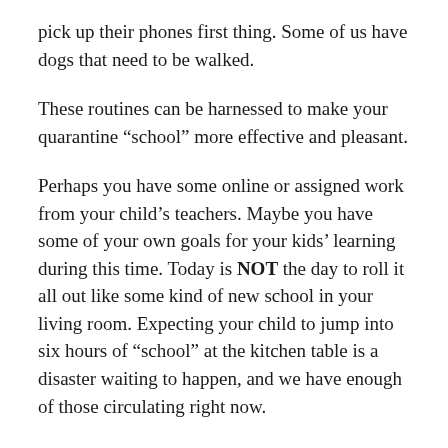pick up their phones first thing. Some of us have dogs that need to be walked.
These routines can be harnessed to make your quarantine “school” more effective and pleasant.
Perhaps you have some online or assigned work from your child’s teachers. Maybe you have some of your own goals for your kids’ learning during this time. Today is NOT the day to roll it all out like some kind of new school in your living room. Expecting your child to jump into six hours of “school” at the kitchen table is a disaster waiting to happen, and we have enough of those circulating right now.
Instead, today is the day to make a plan.  Sit down with your children toформ a plan with them …